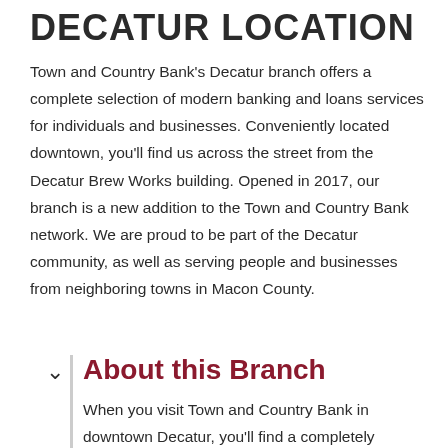DECATUR LOCATION
Town and Country Bank's Decatur branch offers a complete selection of modern banking and loans services for individuals and businesses. Conveniently located downtown, you'll find us across the street from the Decatur Brew Works building. Opened in 2017, our branch is a new addition to the Town and Country Bank network. We are proud to be part of the Decatur community, as well as serving people and businesses from neighboring towns in Macon County.
About this Branch
When you visit Town and Country Bank in downtown Decatur, you'll find a completely remodeled building, inside and out. Our branch lobby offers a neat, clean